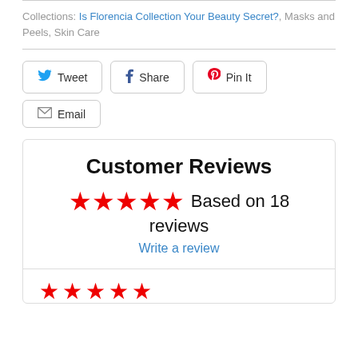Collections: Is Florencia Collection Your Beauty Secret?, Masks and Peels, Skin Care
[Figure (screenshot): Social sharing buttons: Tweet (Twitter), Share (Facebook), Pin It (Pinterest), Email]
Customer Reviews
★★★★★ Based on 18 reviews
Write a review
[Figure (other): Five red stars rating at bottom of reviews section]